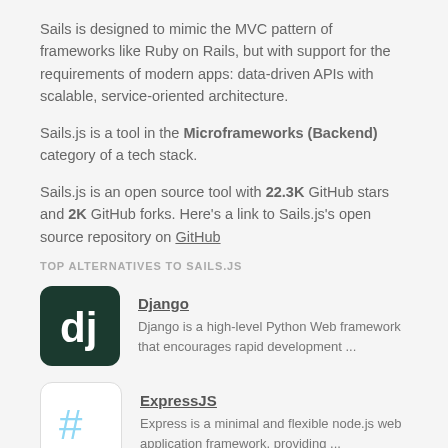Sails is designed to mimic the MVC pattern of frameworks like Ruby on Rails, but with support for the requirements of modern apps: data-driven APIs with scalable, service-oriented architecture.
Sails.js is a tool in the Microframeworks (Backend) category of a tech stack.
Sails.js is an open source tool with 22.3K GitHub stars and 2K GitHub forks. Here’s a link to Sails.js’s open source repository on GitHub
TOP ALTERNATIVES TO SAILS.JS
Django
Django is a high-level Python Web framework that encourages rapid development ...
ExpressJS
Express is a minimal and flexible node.js web application framework, providing ...